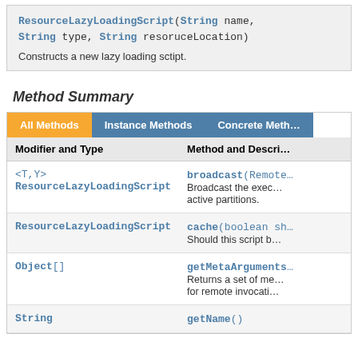ResourceLazyLoadingScript(String name, String type, String resoruceLocation)
Constructs a new lazy loading sctipt.
Method Summary
| Modifier and Type | Method and Description |
| --- | --- |
| <T,Y> ResourceLazyLoadingScript | broadcast(Remote…
Broadcast the exec… active partitions. |
| ResourceLazyLoadingScript | cache(boolean sh…
Should this script b… |
| Object[] | getMetaArguments…
Returns a set of me… for remote invocati… |
| String | getName() |